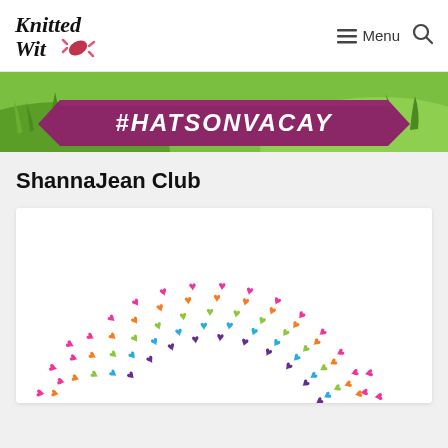Knitted Wit — Menu
[Figure (illustration): Green landscape banner with purple ribbon reading #HATSONVACAY]
ShannaJean Club
[Figure (illustration): Rainbow arc made of colorful knit stitch heart shapes in rows — pink, orange, green, blue, purple colors]